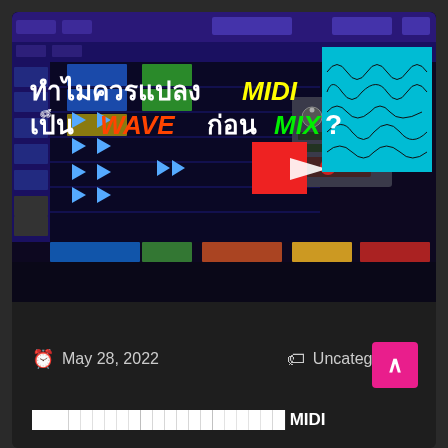[Figure (screenshot): DAW (Digital Audio Workstation) software screenshot showing MIDI tracks with play arrows, a synthesizer plugin, a red square with white arrow indicating conversion, and a cyan waveform display. Thai text overlay reads 'ทำไมควรแปลง MIDI เป็น WAVE ก่อน MIX?' with MIDI in yellow, WAVE in red/orange, MIX in green.]
May 28, 2022
Uncategorized
ทำไมควรแปลง MIDI เป็น WAVE ก่อน MIX?